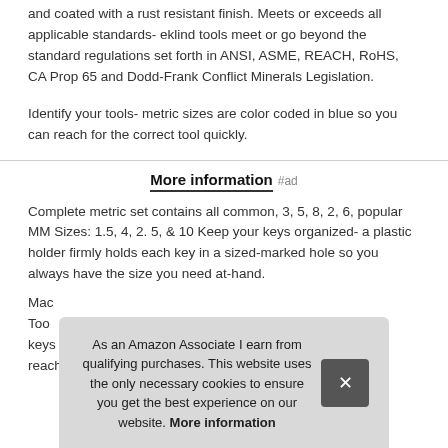and coated with a rust resistant finish. Meets or exceeds all applicable standards- eklind tools meet or go beyond the standard regulations set forth in ANSI, ASME, REACH, RoHS, CA Prop 65 and Dodd-Frank Conflict Minerals Legislation.
Identify your tools- metric sizes are color coded in blue so you can reach for the correct tool quickly.
More information #ad
Complete metric set contains all common, 3, 5, 8, 2, 6, popular MM Sizes: 1.5, 4, 2. 5, & 10 Keep your keys organized- a plastic holder firmly holds each key in a sized-marked hole so you always have the size you need at-hand.
Mac Too keys reach socket headed fasteners. Eklind hex keys allen
As an Amazon Associate I earn from qualifying purchases. This website uses the only necessary cookies to ensure you get the best experience on our website. More information